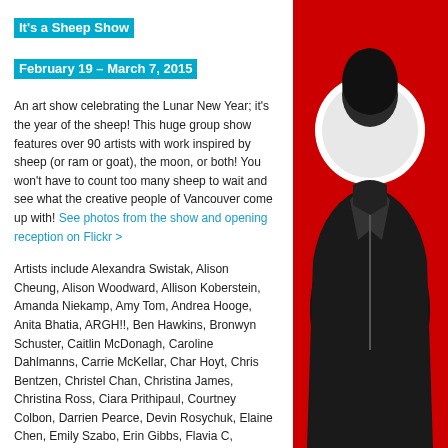It's a Sheep Show
February 19 – March 7, 2015
An art show celebrating the Lunar New Year; it's the year of the sheep! This huge group show features over 90 artists with work inspired by sheep (or ram or goat), the moon, or both! You won't have to count too many sheep to wait and see what the creative people of Vancouver come up with! See photos from the show and opening reception on Flickr >
Artists include Alexandra Swistak, Alison Cheung, Alison Woodward, Allison Koberstein, Amanda Niekamp, Amy Tom, Andrea Hooge, Anita Bhatia, ARGH!!, Ben Hawkins, Bronwyn Schuster, Caitlin McDonagh, Caroline Dahlmanns, Carrie McKellar, Char Hoyt, Chris Bentzen, Christel Chan, Christina James, Christina Ross, Ciara Prithipaul, Courtney Colbon, Darrien Pearce, Devin Rosychuk, Elaine Chen, Emily Szabo, Erin Gibbs, Flavia C, Heather Gilbraith, Heather Souliere, Jacquie Manning, Jacquie Rolston, Jane Q Cheng, Janice Cheng, Jay Brandsma, Jeff Wilson, Jenn Brisson, Jennifer Chernecki, Joanne Go, John Cusack, Joni Taylor, Josina de
[Figure (photo): Artwork for 'It's a Sheep Show' — a stylized image on red background featuring a figure in black leather jacket with white circular element, possibly a moon or sheep motif]